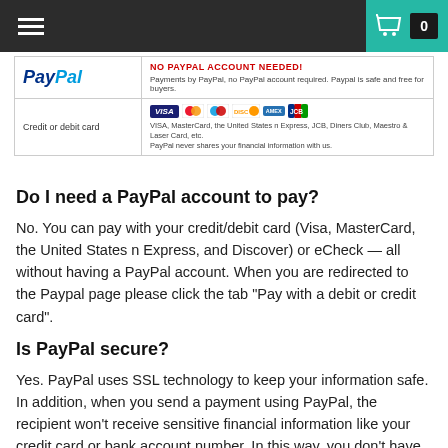Navigation bar with menu icon and shopping cart (0 items)
[Figure (screenshot): PayPal payment options table showing PayPal logo with 'NO PAYPAL ACCOUNT NEEDED!' text, and Credit or debit card row showing VISA, MasterCard, Maestro, Discover, American Express, JCB logos with description text.]
Do I need a PayPal account to pay?
No. You can pay with your credit/debit card (Visa, MasterCard, the United States n Express, and Discover) or eCheck — all without having a PayPal account. When you are redirected to the Paypal page please click the tab "Pay with a debit or credit card".
Is PayPal secure?
Yes. PayPal uses SSL technology to keep your information safe. In addition, when you send a payment using PayPal, the recipient won't receive sensitive financial information like your credit card or bank account number. In this way, you don't have to worry about paying people whom you don't know. PayPal is designed from the ground up to be a safer way to send money online. Your financial information won't be sold or exposed to any merchant or retailer.